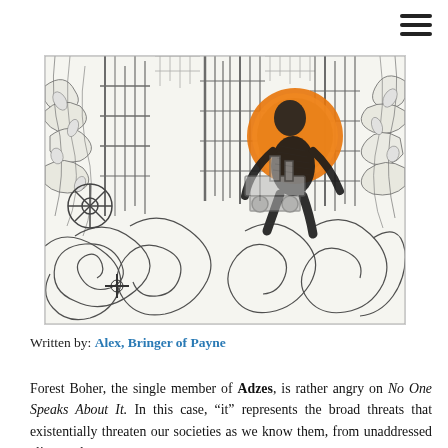[Figure (illustration): Black and white illustration with orange accent color, depicting an industrial scene with machinery, pipes, and a central figure (possibly a monkey or creature) surrounded by mechanical and natural/floral elements in a detailed crosshatch style.]
Written by: Alex, Bringer of Payne
Forest Boher, the single member of Adzes, is rather angry on No One Speaks About It. In this case, “it” represents the broad threats that existentially threaten our societies as we know them, from unaddressed climate change to